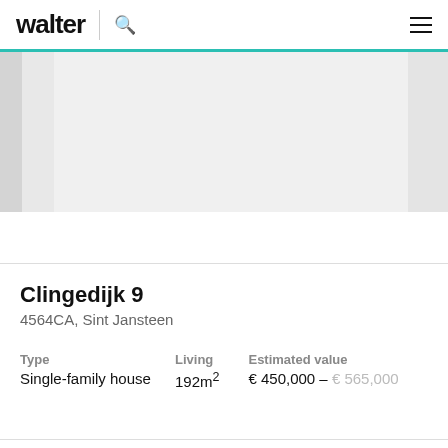walter
[Figure (photo): Property image carousel showing a house exterior, partially visible with grey placeholder panels on the sides]
Clingedijk 9
4564CA, Sint Jansteen
| Type | Living | Estimated value |
| --- | --- | --- |
| Single-family house | 192m² | € 450,000 – € 565,000 |